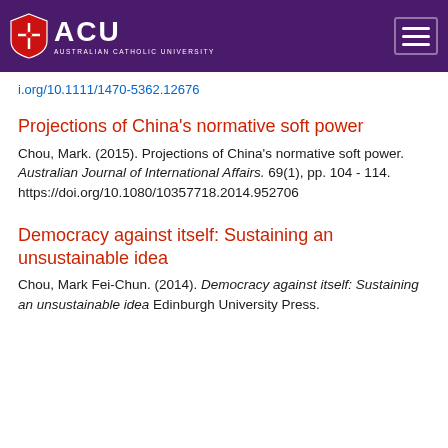ACU - Australian Catholic University
i.org/10.1111/1470-5362.12676
Projections of China's normative soft power
Chou, Mark. (2015). Projections of China's normative soft power. Australian Journal of International Affairs. 69(1), pp. 104 - 114. https://doi.org/10.1080/10357718.2014.952706
Democracy against itself: Sustaining an unsustainable idea
Chou, Mark Fei-Chun. (2014). Democracy against itself: Sustaining an unsustainable idea Edinburgh University Press.